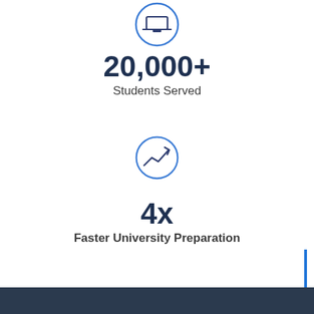[Figure (infographic): Circle icon with a graduation cap / screen symbol in blue outline]
20,000+
Students Served
[Figure (infographic): Circle icon with a trending upward arrow / line chart symbol in blue outline]
4x
Faster University Preparation